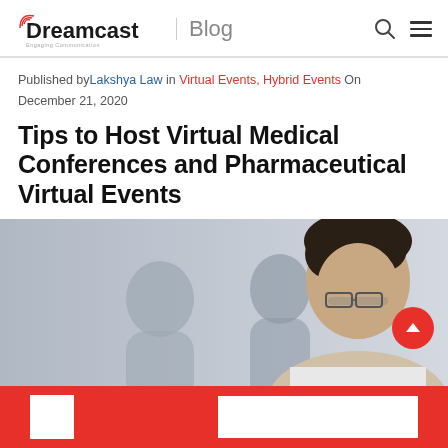Dreamcast Blog
Published by Lakshya Law in Virtual Events, Hybrid Events On December 21, 2020
Tips to Host Virtual Medical Conferences and Pharmaceutical Virtual Events
[Figure (photo): Man with glasses at a conference, with blurred people in background]